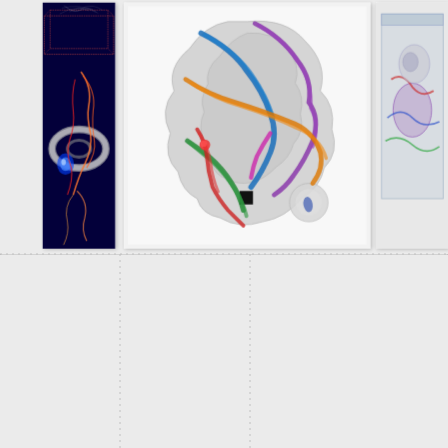[Figure (illustration): Three medical visualization panels side by side. Left panel: dark blue background showing a 3D torus/tube structure in gray with orange and red curved lines and a wireframe cube outline, blue glowing element. Center panel: white background showing a 3D brain or organ surface rendering (gray, translucent) with multiple colored fiber tract streamlines (blue, purple, orange, green, red, magenta) passing through/around it. Right panel: partially visible, shows a semi-transparent container with colorful elements inside. All panels have white backgrounds with drop shadows on a light gray page background with dotted grid lines.]